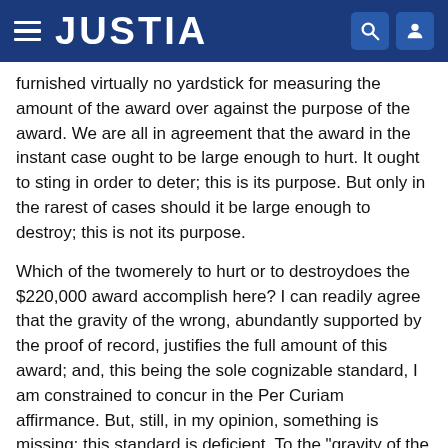JUSTIA
furnished virtually no yardstick for measuring the amount of the award over against the purpose of the award. We are all in agreement that the award in the instant case ought to be large enough to hurt. It ought to sting in order to deter; this is its purpose. But only in the rarest of cases should it be large enough to destroy; this is not its purpose.
Which of the twomerely to hurt or to destroydoes the $220,000 award accomplish here? I can readily agree that the gravity of the wrong, abundantly supported by the proof of record, justifies the full amount of this award; and, this being the sole cognizable standard, I am constrained to concur in the Per Curiam affirmance. But, still, in my opinion, something is missing; this standard is deficient. To the "gravity of the wrong" element should be added this inquiry: What (i. e., how much) will it take